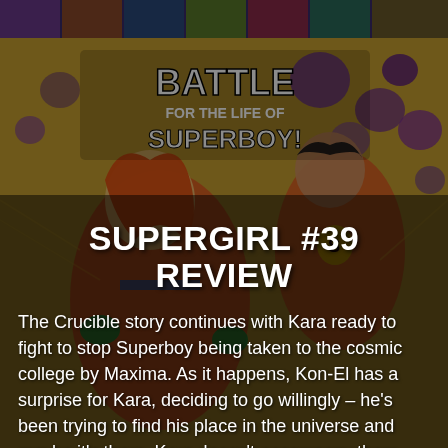[Figure (illustration): Comic book cover art for 'Battle for the Life of Superboy!' featuring Supergirl with orange hair in the foreground and Superboy in the background, with colorful comic art style. A strip of additional comic book covers appears at the very top of the image.]
SUPERGIRL #39 REVIEW
The Crucible story continues with Kara ready to fight to stop Superboy being taken to the cosmic college by Maxima. As it happens, Kon-El has a surprise for Kara, deciding to go willingly – he's been trying to find his place in the universe and maybe it's there. Kara doesn't accompany them from Rome, being […]
Read More